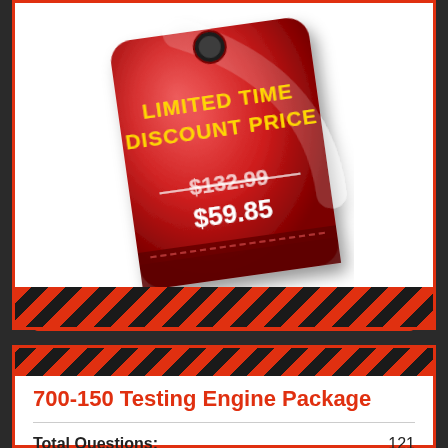[Figure (illustration): A red price tag tilted slightly, showing 'LIMITED TIME DISCOUNT PRICE' in gold text, with original price $132.99 struck through and discounted price $59.85 in white text below.]
Add to Cart
700-150 Testing Engine Package
Total Questions: 121